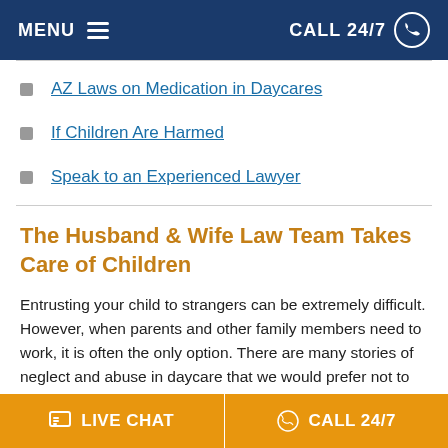MENU   CALL 24/7
AZ Laws on Medication in Daycares
If Children Are Harmed
Speak to an Experienced Lawyer
The Husband & Wife Law Team Takes Care of Children
Entrusting your child to strangers can be extremely difficult. However, when parents and other family members need to work, it is often the only option. There are many stories of neglect and abuse in daycare that we would prefer not to think about, but one problem that is often overlooked is when a child is given
LIVE CHAT   CALL 24/7